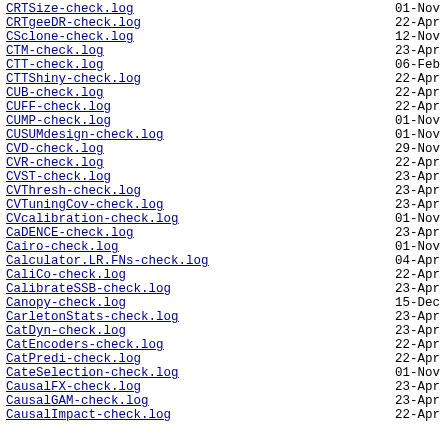CRTSize-check.log   01-Nov
CRTgeeDR-check.log   22-Apr
CSclone-check.log   12-Nov
CTM-check.log   23-Apr
CTT-check.log   06-Feb
CTTShiny-check.log   22-Apr
CUB-check.log   22-Apr
CUFF-check.log   22-Apr
CUMP-check.log   01-Nov
CUSUMdesign-check.log   01-Nov
CVD-check.log   29-Nov
CVR-check.log   22-Apr
CVST-check.log   23-Apr
CVThresh-check.log   23-Apr
CVTuningCov-check.log   23-Apr
CVcalibration-check.log   01-Nov
CaDENCE-check.log   23-Apr
Cairo-check.log   01-Nov
Calculator.LR.FNs-check.log   04-Apr
CaliCo-check.log   22-Apr
CalibrateSSB-check.log   23-Apr
Canopy-check.log   15-Dec
CarletonStats-check.log   23-Apr
CatDyn-check.log   23-Apr
CatEncoders-check.log   22-Apr
CatPredi-check.log   22-Apr
CateSelection-check.log   01-Nov
CausalFX-check.log   23-Apr
CausalGAM-check.log   23-Apr
CausalImpact-check.log   22-Apr